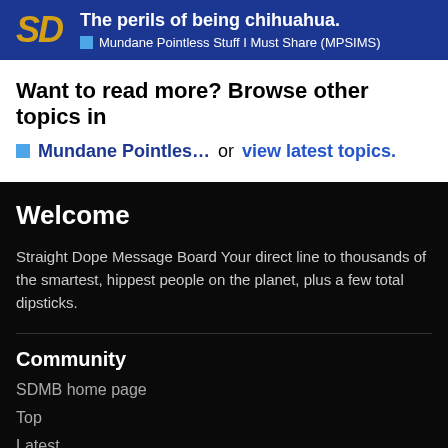The perils of being chihuahua. Mundane Pointless Stuff I Must Share (MPSIMS)
Want to read more? Browse other topics in Mundane Pointles... or view latest topics.
Welcome
Straight Dope Message Board Your direct line to thousands of the smartest, hippest people on the planet, plus a few total dipsticks.
Community
SDMB home page
Top
Latest